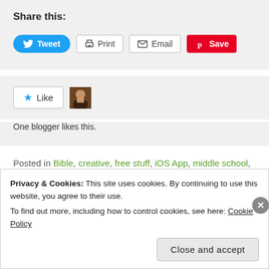Share this:
[Figure (screenshot): Social share buttons: Tweet (blue, Twitter bird icon), Print (printer icon), Email (envelope icon), Save (Pinterest red, P icon)]
[Figure (screenshot): Like button with blue star and 'Like' text, plus small blogger avatar thumbnail. Below: 'One blogger likes this.']
One blogger likes this.
Posted in Bible, creative, free stuff, iOS App, middle school,
Privacy & Cookies: This site uses cookies. By continuing to use this website, you agree to their use.
To find out more, including how to control cookies, see here: Cookie Policy
Close and accept